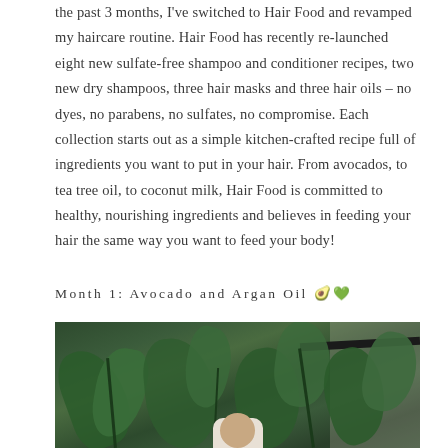the past 3 months, I've switched to Hair Food and revamped my haircare routine. Hair Food has recently re-launched eight new sulfate-free shampoo and conditioner recipes, two new dry shampoos, three hair masks and three hair oils – no dyes, no parabens, no sulfates, no compromise. Each collection starts out as a simple kitchen-crafted recipe full of ingredients you want to put in your hair. From avocados, to tea tree oil, to coconut milk, Hair Food is committed to healthy, nourishing ingredients and believes in feeding your hair the same way you want to feed your body!
Month 1: Avocado and Argan Oil 🥑💚
[Figure (photo): A woman standing in front of large green tropical plants/foliage in what appears to be an indoor space with a dark ceiling beam or bar visible in the upper right.]